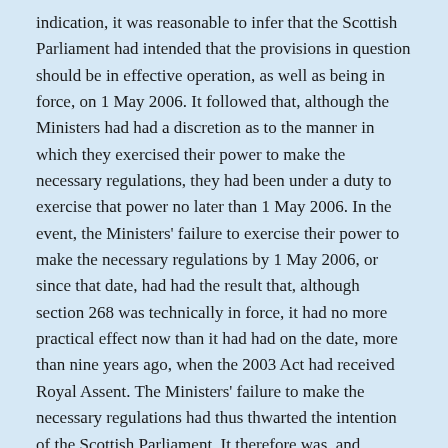indication, it was reasonable to infer that the Scottish Parliament had intended that the provisions in question should be in effective operation, as well as being in force, on 1 May 2006. It followed that, although the Ministers had had a discretion as to the manner in which they exercised their power to make the necessary regulations, they had been under a duty to exercise that power no later than 1 May 2006. In the event, the Ministers' failure to exercise their power to make the necessary regulations by 1 May 2006, or since that date, had had the result that, although section 268 was technically in force, it had no more practical effect now than it had had on the date, more than nine years ago, when the 2003 Act had received Royal Assent. The Ministers' failure to make the necessary regulations had thus thwarted the intention of the Scottish Parliament. It therefore was, and remained, unlawful.
Appearances: Jonathan Mitchell QC and Lorna Drummond QC (instructed by Frank Irvine Solicitors Ltd, Glasgow) for the